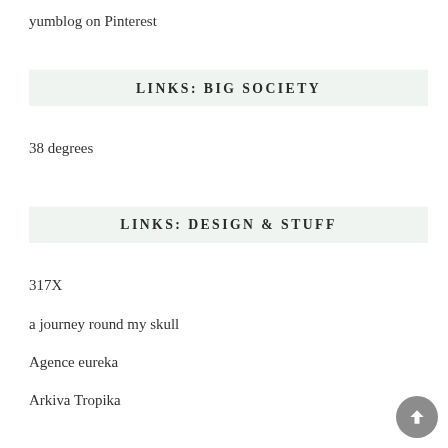yumblog on Pinterest
LINKS: BIG SOCIETY
38 degrees
LINKS: DESIGN & STUFF
317X
a journey round my skull
Agence eureka
Arkiva Tropika